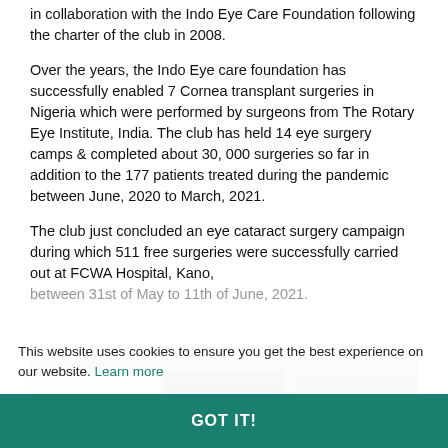in collaboration with the Indo Eye Care Foundation following the charter of the club in 2008.
Over the years, the Indo Eye care foundation has successfully enabled 7 Cornea transplant surgeries in Nigeria which were performed by surgeons from The Rotary Eye Institute, India. The club has held 14 eye surgery camps & completed about 30, 000 surgeries so far in addition to the 177 patients treated during the pandemic between June, 2020 to March, 2021.
The club just concluded an eye cataract surgery campaign during which 511 free surgeries were successfully carried out at FCWA Hospital, Kano, between 31st of May to 11th of June, 2021.
This website uses cookies to ensure you get the best experience on our website. Learn more
GOT IT!
[Figure (photo): Partial photo strip at bottom showing a medical/hospital scene, partially obscured by cookie consent bar]